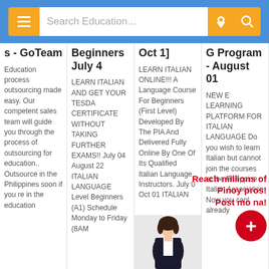[Figure (screenshot): Mobile app search bar with orange menu button, white search field reading 'Search Education...', orange location pin button, and orange search magnifier button on blue background]
s - GoTeam
Education process outsourcing made easy. Our competent sales team will guide you through the process of outsourcing for education.. Outsource in the Philippines soon if you re in the education
Beginners July 4
LEARN ITALIAN AND GET YOUR TESDA CERTIFICATE WITHOUT TAKING FURTHER EXAMS!! July 04 August 22 ITALIAN LANGUAGE Level Beginners (A1) Schedule Monday to Friday (8AM
Oct 1]
LEARN ITALIAN ONLINE!!! A Language Course For Beginners (First Level) Developed By The PIA And Delivered Fully Online By One Of Its Qualified Italian Language Instructors. July 0 Oct 01 ITALIAN
G Program - August 01
NEW E LEARNING PLATFORM FOR ITALIAN LANGUAGE Do you wish to learn Italian but cannot join the courses at the Philippine Italian Association Now you can! already
Reach millions of Pinoy pros! Post mo na!